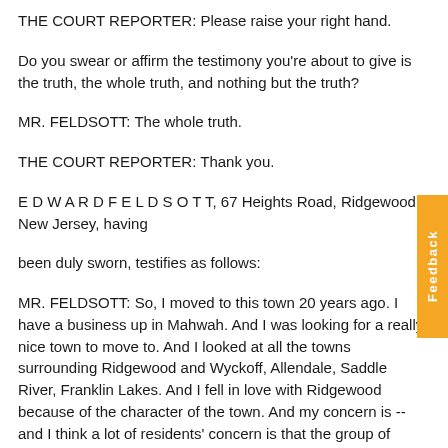THE COURT REPORTER: Please raise your right hand.
Do you swear or affirm the testimony you're about to give is the truth, the whole truth, and nothing but the truth?
MR. FELDSOTT: The whole truth.
THE COURT REPORTER: Thank you.
E D W A R D F E L D S O T T, 67 Heights Road, Ridgewood, New Jersey, having
been duly sworn, testifies as follows:
MR. FELDSOTT: So, I moved to this town 20 years ago. I have a business up in Mahwah. And I was looking for a really nice town to move to. And I looked at all the towns surrounding Ridgewood and Wyckoff, Allendale, Saddle River, Franklin Lakes. And I fell in love with Ridgewood because of the character of the town. And my concern is -- and I think a lot of residents' concern is that the group of people sitting in front of me are going to be destroy the character of the town that we love. You know, I did not sign